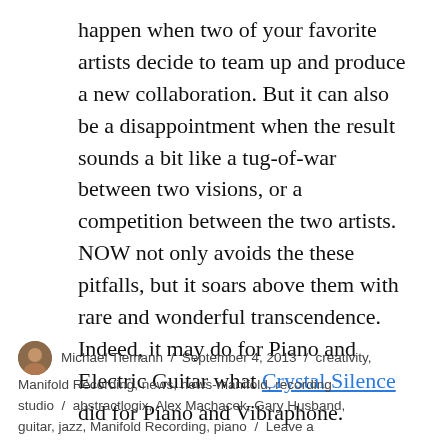happen when two of your favorite artists decide to team up and produce a new collaboration. But it can also be a disappointment when the result sounds a bit like a tug-of-war between two visions, or a competition between the two artists.  NOW not only avoids the these pitfalls, but it soars above them with rare and wonderful transcendence.  Indeed, it may do for Piano and Electric Guitar what Crystal Silence did for Piano and Vibraphone.
Continue reading
Michael Tiemann / September 4, 2013 / creativity, Manifold Recording, news, news-manifold, recording studio / abstractlogix, Alex Machacek, Gary Husband, guitar, jazz, Manifold Recording, piano / Leave a